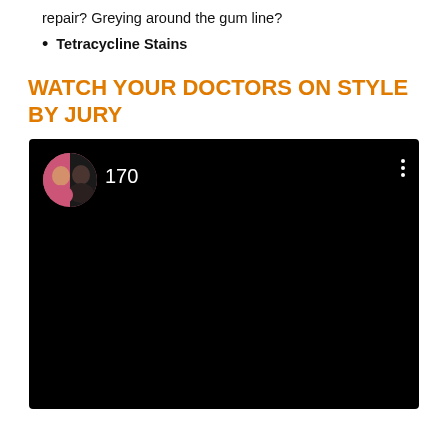repair? Greying around the gum line?
Tetracycline Stains
WATCH YOUR DOCTORS ON STYLE BY JURY
[Figure (screenshot): Embedded video player with black background, a circular avatar thumbnail showing a man and woman, the number 170, and a three-dot menu icon in the top right corner.]